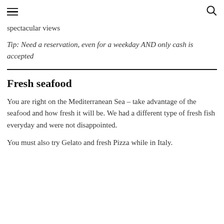≡  🔍
spectacular views
Tip: Need a reservation, even for a weekday AND only cash is accepted
Fresh seafood
You are right on the Mediterranean Sea – take advantage of the seafood and how fresh it will be. We had a different type of fresh fish everyday and were not disappointed.
You must also try Gelato and fresh Pizza while in Italy.